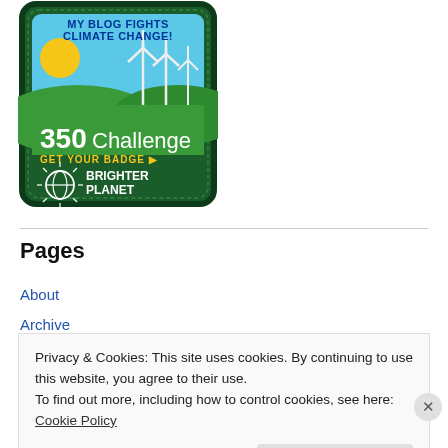[Figure (illustration): Brighter Planet 350 Challenge badge — embroidered patch showing wind turbines, a sun, green hills, text 'MY BLOG FIGHTS CLIMATE CHANGE!' at top, '350 Challenge' in large text, 'GET YOUR BADGE ▶' in yellow, and Brighter Planet globe logo at bottom.]
Pages
About
Archive
Privacy & Cookies: This site uses cookies. By continuing to use this website, you agree to their use.
To find out more, including how to control cookies, see here: Cookie Policy
Close and accept